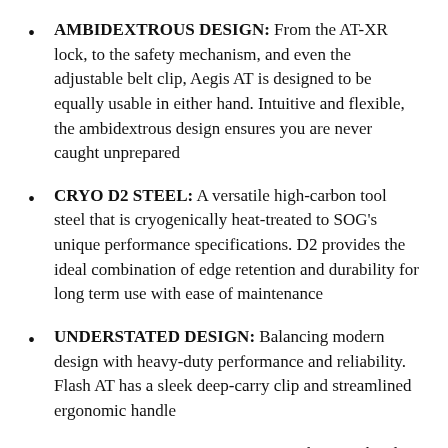AMBIDEXTROUS DESIGN: From the AT-XR lock, to the safety mechanism, and even the adjustable belt clip, Aegis AT is designed to be equally usable in either hand. Intuitive and flexible, the ambidextrous design ensures you are never caught unprepared
CRYO D2 STEEL: A versatile high-carbon tool steel that is cryogenically heat-treated to SOG's unique performance specifications. D2 provides the ideal combination of edge retention and durability for long term use with ease of maintenance
UNDERSTATED DESIGN: Balancing modern design with heavy-duty performance and reliability. Flash AT has a sleek deep-carry clip and streamlined ergonomic handle
MADE FOR THE PREPARED: When you head out for the day, everything in your pocket should be essential. Flash AT fits in perfectly with your daily carry, delivering highly reliable and versatile everyday carry performance